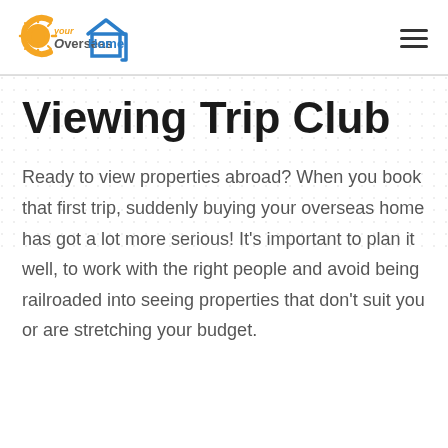[Figure (logo): Your Overseas Home logo with sun and house icon, text 'your OverseasHome']
Viewing Trip Club
Ready to view properties abroad? When you book that first trip, suddenly buying your overseas home has got a lot more serious! It's important to plan it well, to work with the right people and avoid being railroaded into seeing properties that don't suit you or are stretching your budget.